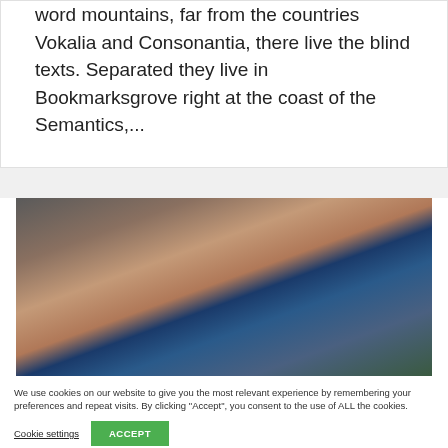word mountains, far from the countries Vokalia and Consonantia, there live the blind texts. Separated they live in Bookmarksgrove right at the coast of the Semantics,...
[Figure (photo): A person with arms crossed wearing a dark blue top, outdoor setting with greenery in background.]
We use cookies on our website to give you the most relevant experience by remembering your preferences and repeat visits. By clicking "Accept", you consent to the use of ALL the cookies.
Cookie settings
ACCEPT